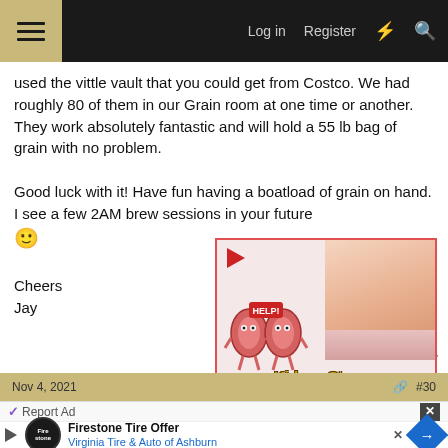≡  Log in  Register  ⚡  🔍
used the vittle vault that you could get from Costco. We had roughly 80 of them in our Grain room at one time or another. They work absolutely fantastic and will hold a 55 lb bag of grain with no problem.

Good luck with it! Have fun having a boatload of grain on hand. I see a few 2AM brew sessions in your future 🙂

Cheers
Jay
[Figure (screenshot): Kidney Stones symptoms advertisement overlay with cartoon kidneys saying HELP! and a photo of a person's back, with a red play button and close button]
↩ Reply
Nov 4, 2021  #30
Report Ad  ✕
[Figure (screenshot): Firestone Tire Offer advertisement - Virginia Tire & Auto of Ashburn with logo and blue diamond arrow icon]